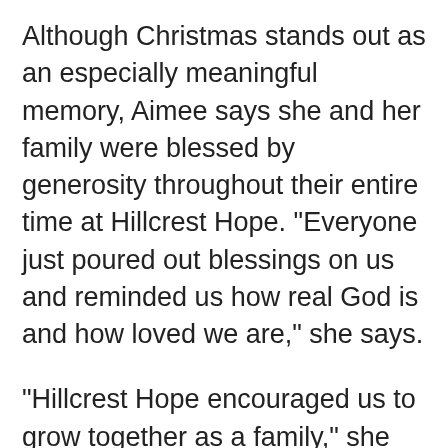Although Christmas stands out as an especially meaningful memory, Aimee says she and her family were blessed by generosity throughout their entire time at Hillcrest Hope. "Everyone just poured out blessings on us and reminded us how real God is and how loved we are," she says.
"Hillcrest Hope encouraged us to grow together as a family," she says. "It turned our lives around. I don't know how I would have made it without the support I received from Hillcrest Hope."